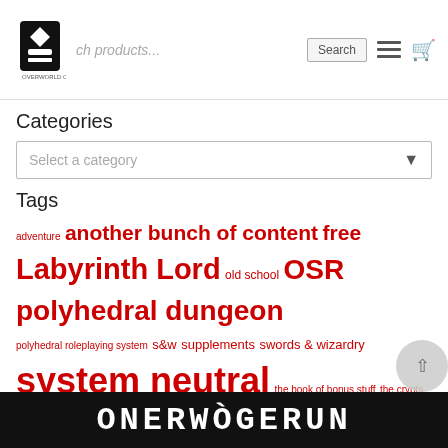Search products... Search
Categories
Select a category
Tags
adventure another bunch of content free Labyrinth Lord old school OSR polyhedral dungeon polyhedral roleplaying system s&w supplements swords & wizardry system neutral the book of bonus stuff the crypts of bes-amat the graveyard at lus The Hench The Murderhobo The Nekomancer Through Dungeons Deeper tool white star rpg
ONERWODGERUN